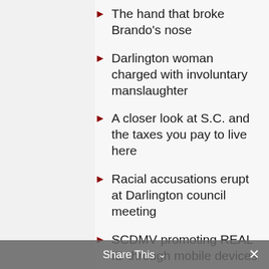The hand that broke Brando's nose
Darlington woman charged with involuntary manslaughter
A closer look at S.C. and the taxes you pay to live here
Racial accusations erupt at Darlington council meeting
SCDMV promoting REAL ID through mobile devices
Teacher in teen-sex case was a star student at FMU
Share This ∨  ✕